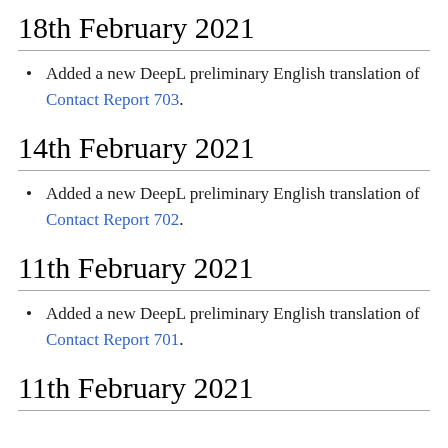18th February 2021
Added a new DeepL preliminary English translation of Contact Report 703.
14th February 2021
Added a new DeepL preliminary English translation of Contact Report 702.
11th February 2021
Added a new DeepL preliminary English translation of Contact Report 701.
11th February 2021